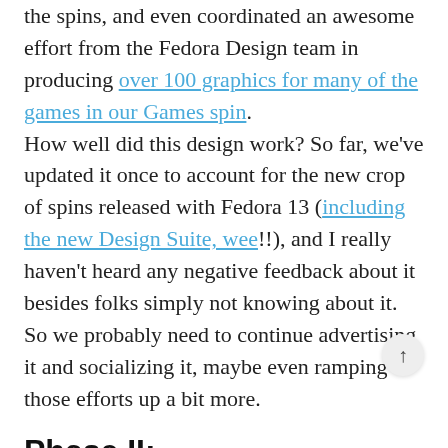the spins, and even coordinated an awesome effort from the Fedora Design team in producing over 100 graphics for many of the games in our Games spin. How well did this design work? So far, we've updated it once to account for the new crop of spins released with Fedora 13 (including the new Design Suite, wee!!), and I really haven't heard any negative feedback about it besides folks simply not knowing about it. So we probably need to continue advertising it and socializing it, maybe even ramping those efforts up a bit more.
Phase II: